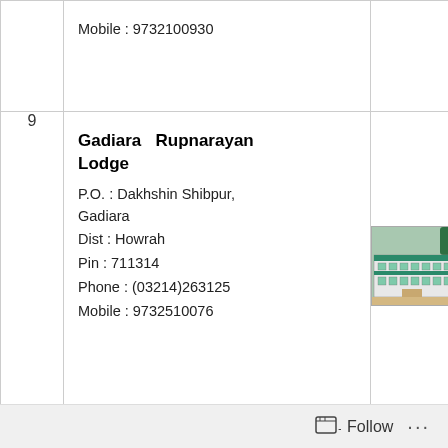| # | Lodge Info | Photo |
| --- | --- | --- |
|  | Mobile : 9732100930 |  |
| 9 | Gadiara Rupnarayan Lodge
P.O. : Dakhshin Shibpur, Gadiara
Dist : Howrah
Pin : 711314
Phone : (03214)263125
Mobile : 9732510076 | [photo] |
|  | Hill Top Tourist Lodge
P.O. : Kalimpong |  |